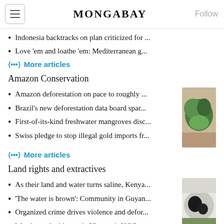MONGABAY
Indonesia backtracks on plan criticized for ...
Love ‘em and loathe ‘em: Mediterranean g...
➤ More articles
Amazon Conservation
Amazon deforestation on pace to roughly ...
Brazil’s new deforestation data board spar...
First-of-its-kind freshwater mangroves disc...
Swiss pledge to stop illegal gold imports fr...
➤ More articles
Land rights and extractives
As their land and water turns saline, Kenya...
‘The water is brown’: Community in Guyan...
Organized crime drives violence and defor...
Worries and whispers in Vietnam’s NGO co...